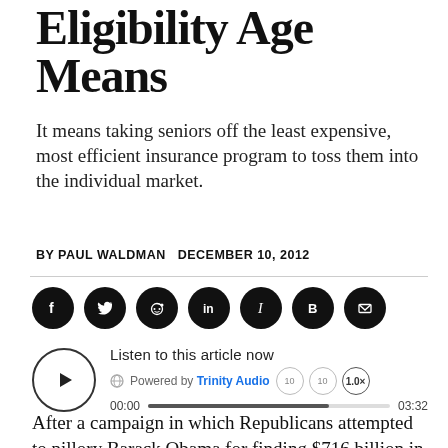Eligibility Age Means
It means taking seniors off the least expensive, most efficient insurance program to toss them into the individual market.
BY PAUL WALDMAN   DECEMBER 10, 2012
[Figure (infographic): Social sharing icons row: Facebook, Twitter, Reddit, LinkedIn, Instapaper, Blogger, Email — all black circles with white icons]
[Figure (infographic): Audio player widget: play button circle, 'Listen to this article now', Powered by Trinity Audio, skip buttons, speed 1.0x, progress bar 00:00 to 03:32]
After a campaign in which Republicans attempted to pillory Barack Obama for finding $716 billion in savings from Medicare (via cuts in payments to